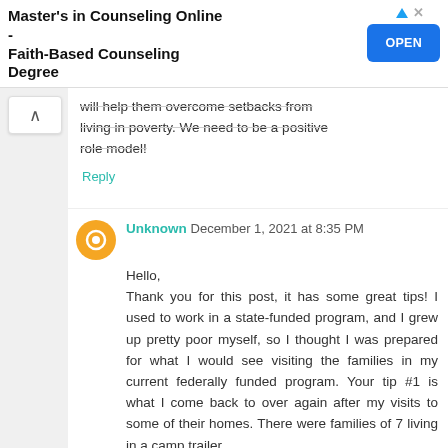[Figure (other): Advertisement banner: Master's in Counseling Online - Faith-Based Counseling Degree. Expand Your Opportunities to Serve - Become a Licensed Professional Counselor. Get Info! enroll.divinemercy.edu. OPEN button on right.]
will help them overcome setbacks from living in poverty. We need to be a positive role model!
Reply
Unknown December 1, 2021 at 8:35 PM
Hello,
Thank you for this post, it has some great tips! I used to work in a state-funded program, and I grew up pretty poor myself, so I thought I was prepared for what I would see visiting the families in my current federally funded program. Your tip #1 is what I come back to over again after my visits to some of their homes. There were families of 7 living in a camp trailer,